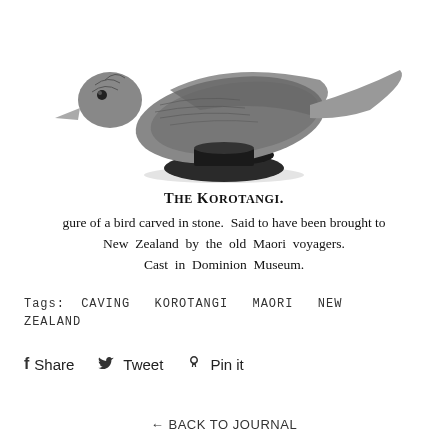[Figure (photo): Black and white photograph of the Korotangi — a bird figure carved in stone, shown on a rounded dark pedestal, facing left with detailed feather texture.]
THE KOROTANGI.
gure of a bird carved in stone. Said to have been brought to New Zealand by the old Maori voyagers. Cast in Dominion Museum.
Tags: CAVING KOROTANGI MAORI NEW ZEALAND
f Share  Tweet  Pin it
← BACK TO JOURNAL